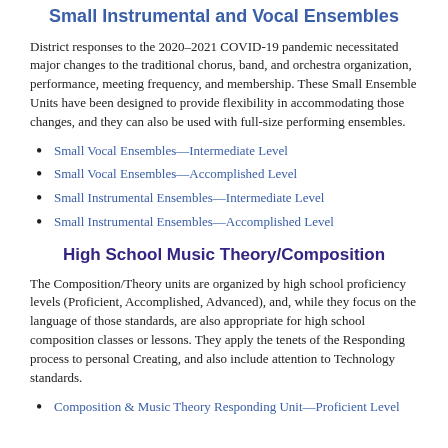Small Instrumental and Vocal Ensembles
District responses to the 2020–2021 COVID-19 pandemic necessitated major changes to the traditional chorus, band, and orchestra organization, performance, meeting frequency, and membership. These Small Ensemble Units have been designed to provide flexibility in accommodating those changes, and they can also be used with full-size performing ensembles.
Small Vocal Ensembles—Intermediate Level
Small Vocal Ensembles—Accomplished Level
Small Instrumental Ensembles—Intermediate Level
Small Instrumental Ensembles—Accomplished Level
High School Music Theory/Composition
The Composition/Theory units are organized by high school proficiency levels (Proficient, Accomplished, Advanced), and, while they focus on the language of those standards, are also appropriate for high school composition classes or lessons. They apply the tenets of the Responding process to personal Creating, and also include attention to Technology standards.
Composition & Music Theory Responding Unit—Proficient Level